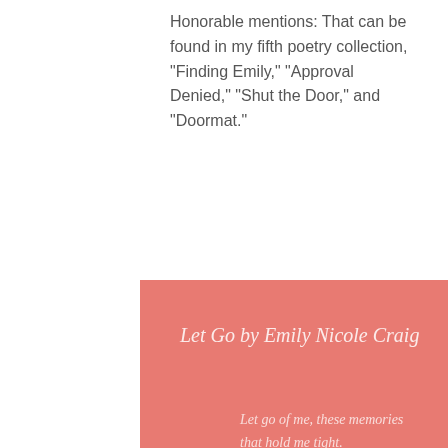Honorable mentions: That can be found in my fifth poetry collection, "Finding Emily," "Approval Denied," "Shut the Door," and "Doormat."
[Figure (other): Pink/salmon colored decorative box containing a poem titled 'Let Go by Emily Nicole Craig' with poem lines: 'Let go of me, these memories that hold me tight. Let go of me, I can't bear these thoughts of you tonight' and a dark red back-to-top arrow button in the bottom right corner.]